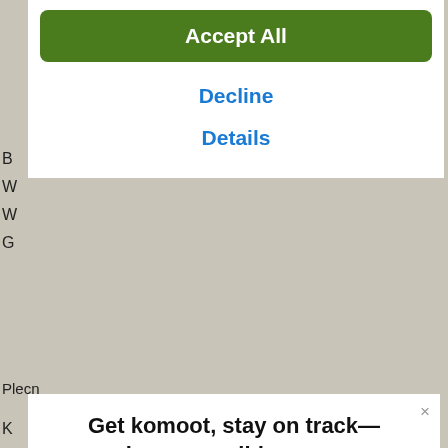[Figure (screenshot): Cookie consent dialog with 'Accept All' green button, 'Decline' and 'Details' blue links on white panel overlay]
Accept All
Decline
Details
Plecn
Get komoot, stay on track—however wild you go
With turn-by-turn voice navigation and offline maps, the komoot app will always keep your adventure on track, even when the internet's down or unreliable.
[Figure (screenshot): Download on the App Store button (black rounded rectangle with Apple logo)]